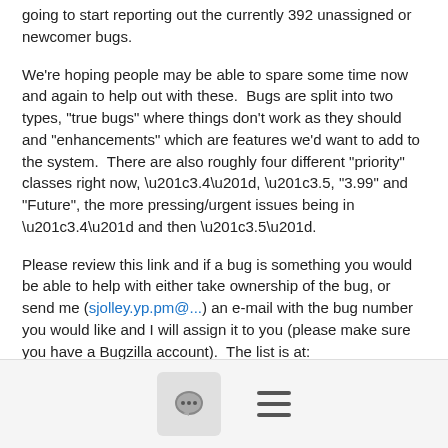going to start reporting out the currently 392 unassigned or newcomer bugs.
We're hoping people may be able to spare some time now and again to help out with these. Bugs are split into two types, "true bugs" where things don't work as they should and "enhancements" which are features we'd want to add to the system. There are also roughly four different "priority" classes right now, “3.4”, “3.5, "3.99" and "Future", the more pressing/urgent issues being in “3.4” and then “3.5”.
Please review this link and if a bug is something you would be able to help with either take ownership of the bug, or send me (sjolley.yp.pm@...) an e-mail with the bug number you would like and I will assign it to you (please make sure you have a Bugzilla account). The list is at: https://wiki.yoctoproject.org/wiki/Bug_Triage_Archive#Unassigned_or_Newcomer_Bugs
[Figure (other): Footer bar with comment bubble icon button and hamburger menu icon]